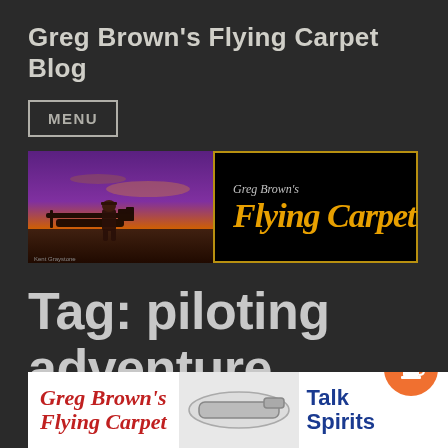Greg Brown's Flying Carpet Blog
MENU
[Figure (illustration): Banner image with two parts: left side shows a man in cowboy hat standing by a vintage airplane at sunset with purple/orange sky; right side shows black background with gold border and italic text 'Greg Brown's Flying Carpet' in yellow/orange script on black]
Tag: piloting adventure
[Figure (illustration): Bottom banner showing 'Greg Brown's Flying Carpet' in red script on white background with airplane image and 'Talking Spirits' text on the right, partially visible]